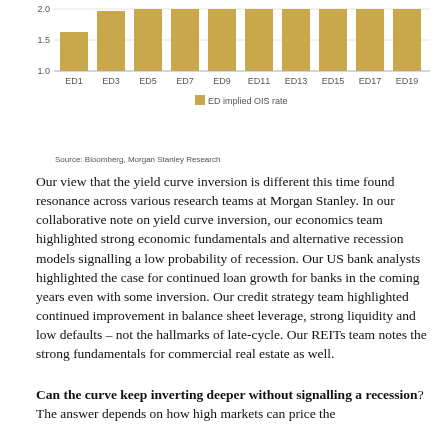[Figure (bar-chart): ]
Source: Bloomberg, Morgan Stanley Research
Our view that the yield curve inversion is different this time found resonance across various research teams at Morgan Stanley. In our collaborative note on yield curve inversion, our economics team highlighted strong economic fundamentals and alternative recession models signalling a low probability of recession. Our US bank analysts highlighted the case for continued loan growth for banks in the coming years even with some inversion. Our credit strategy team highlighted continued improvement in balance sheet leverage, strong liquidity and low defaults – not the hallmarks of late-cycle. Our REITs team notes the strong fundamentals for commercial real estate as well.
Can the curve keep inverting deeper without signalling a recession? The answer depends on how high markets can price the...